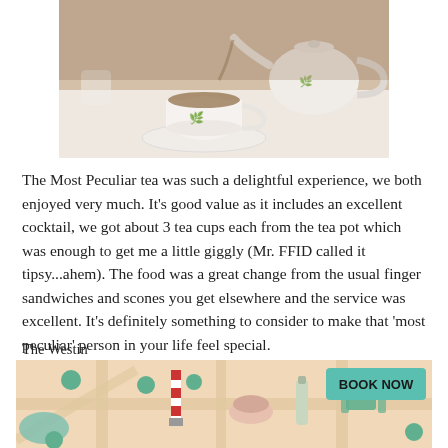[Figure (photo): Photo of tea being poured from a white floral teapot into a tea cup on a white saucer, with a small creamer in the background, on a table with a white tablecloth.]
The Most Peculiar tea was such a delightful experience, we both enjoyed very much. It's good value as it includes an excellent cocktail, we got about 3 tea cups each from the tea pot which was enough to get me a little giggly (Mr. FFID called it tipsy...ahem). The food was a great change from the usual finger sandwiches and scones you get elsewhere and the service was excellent. It's definitely something to consider to make that 'most peculiar' person in your life feel special.
The Westin
35-39 Westmoreland St
Dublin
http://www.thewestindublin.com/
Afternoon tea menu
[Figure (map): Illustrated map graphic showing a stylized Dublin map with trees, a lighthouse, food items, a bottle, and a 'BOOK NOW' button in teal, with a warm beige background.]